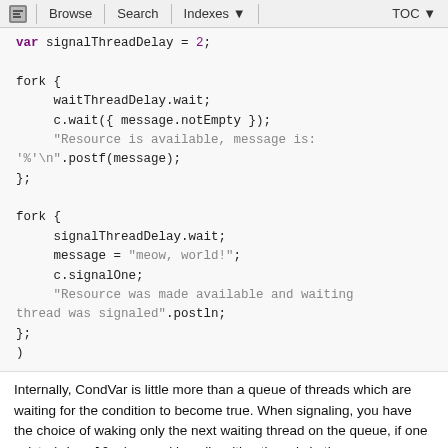Browse | Search | Indexes ▼   TOC ▼
var signalThreadDelay = 2;

fork {
    waitThreadDelay.wait;
    c.wait({ message.notEmpty });
    "Resource is available, message is: '%'\n".postf(message);
};

fork {
    signalThreadDelay.wait;
    message = "meow, world!";
    c.signalOne;
    "Resource was made available and waiting thread was signaled".postln;
};
)
Internally, CondVar is little more than a queue of threads which are waiting for the condition to become true. When signaling, you have the choice of waking only the next waiting thread on the queue, if one exists (signalOne), or waking all waiting threads in the queue (signalAll).
Note that threads in the queue do not resume immediately upon a signal. They are scheduled to resume immediately after the signalling thread relinquishes control, either by yield or wait, or by reaching the end of a playing Routine. In the examples above, the signalOne...